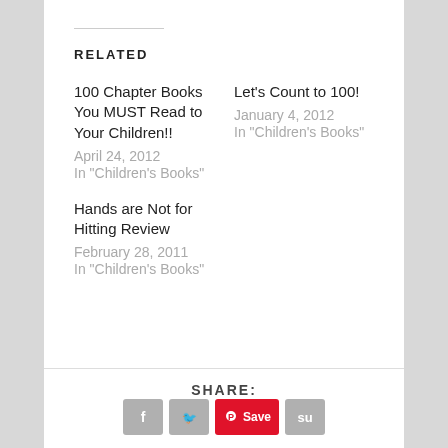RELATED
100 Chapter Books You MUST Read to Your Children!!
April 24, 2012
In "Children's Books"
Let's Count to 100!
January 4, 2012
In "Children's Books"
Hands are Not for Hitting Review
February 28, 2011
In "Children's Books"
SHARE: